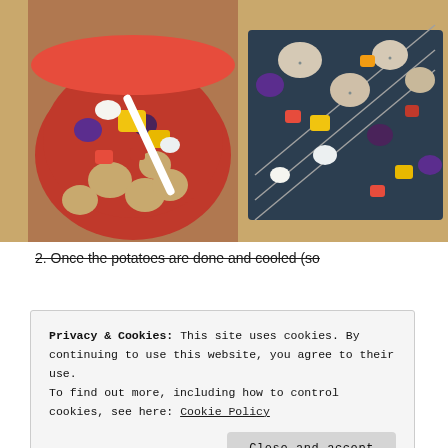[Figure (photo): Two side-by-side food photos: left shows a red bowl filled with colorful chopped vegetables (potatoes, bell peppers, onions, purple potatoes) with a white spoon; right shows assembled kebab skewers with chicken and vegetables laid on a dark baking tray on a granite countertop.]
2. Once the potatoes are done and cooled (so
Privacy & Cookies: This site uses cookies. By continuing to use this website, you agree to their use.
To find out more, including how to control cookies, see here: Cookie Policy
Close and accept
skewer the meat and veggies on metal skewers.